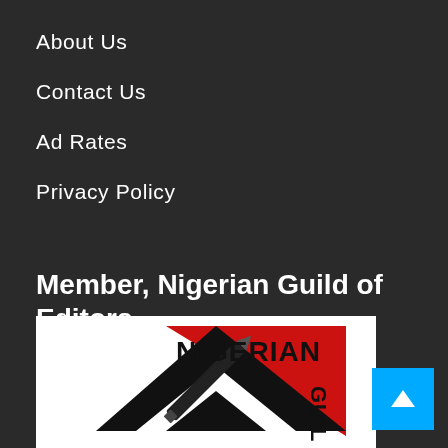About Us
Contact Us
Ad Rates
Privacy Policy
Member, Nigerian Guild of Editors
[Figure (logo): Nigerian Guild of Editors logo — black and red diamond/shield shape with a pen/pencil graphic, text 'NIGERIAN' across the top and 'GUIL' visible on the right side]